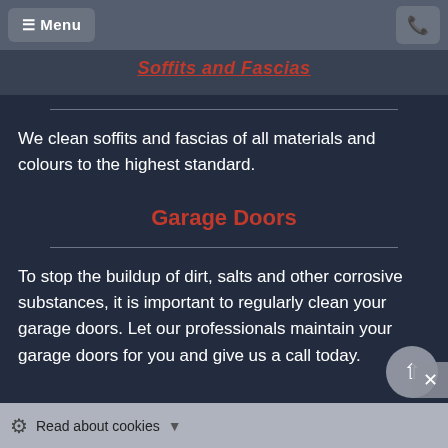≡ Menu  [phone icon]
Soffits and Fascias
We clean soffits and fascias of all materials and colours to the highest standard.
Garage Doors
To stop the buildup of dirt, salts and other corrosive substances, it is important to regularly clean your garage doors. Let our professionals maintain your garage doors for you and give us a call today.
Read about cookies ▾